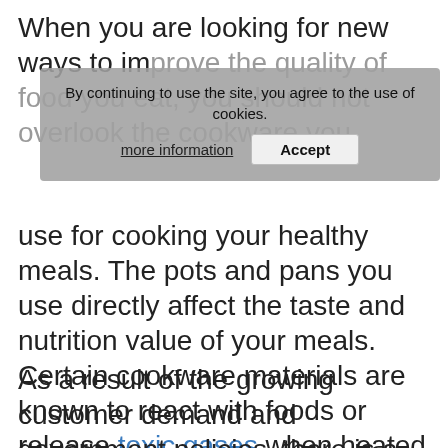When you are looking for new ways to improve the quality of food you eat, you should not overlook the cookware you use for cooking your healthy meals. The pots and pans you use directly affect the taste and nutrition value of your meals. Certain cookware materials are known to react with foods or release toxic gases when heated at high temperatures.
As a result of the growing customer demand and government policies, there is a variety of so-called safe cookware